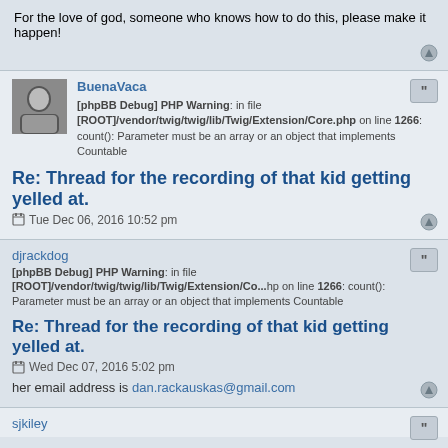For the love of god, someone who knows how to do this, please make it happen!
BuenaVaca
[phpBB Debug] PHP Warning: in file [ROOT]/vendor/twig/twig/lib/Twig/Extension/Core.php on line 1266: count(): Parameter must be an array or an object that implements Countable
Re: Thread for the recording of that kid getting yelled at.
Tue Dec 06, 2016 10:52 pm
djrackdog
[phpBB Debug] PHP Warning: in file [ROOT]/vendor/twig/twig/lib/Twig/Extension/Core.php on line 1266: count(): Parameter must be an array or an object that implements Countable
Re: Thread for the recording of that kid getting yelled at.
Wed Dec 07, 2016 5:02 pm
her email address is dan.rackauskas@gmail.com
sjkiley